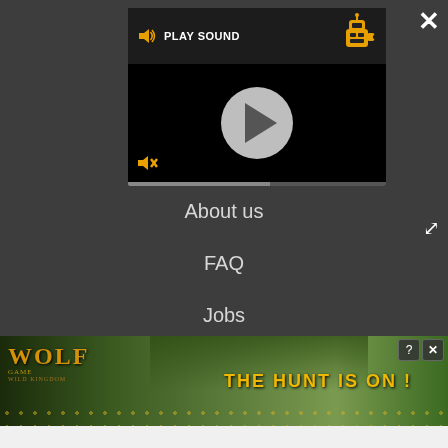[Figure (screenshot): Video player widget with play button, speaker/sound icon, PLAY SOUND label, robot mascot icon, mute button, and progress bar on dark background]
About us
FAQ
Jobs
Contact
Archives
[Figure (photo): Wolf Game: Wild Kingdom advertisement banner showing wolves running in a field with text THE HUNT IS ON!]